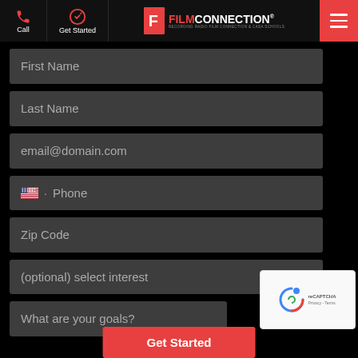Film Connection - Get Started form page header with Call, Get Started, Logo, and Menu
First Name
Last Name
email@domain.com
Phone
Zip Code
(optional) select interest
What are your goals?
Get Started